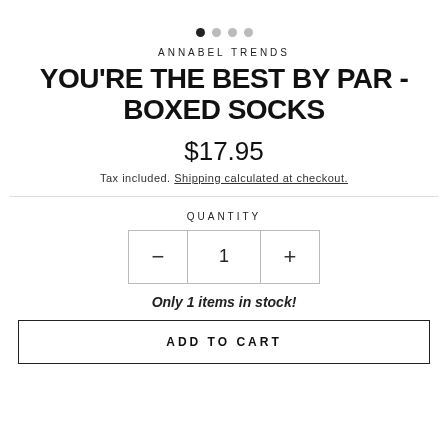[Figure (other): Pagination dots: 4 dots, first filled/active, rest outlined]
ANNABEL TRENDS
YOU'RE THE BEST BY PAR - BOXED SOCKS
$17.95
Tax included. Shipping calculated at checkout.
QUANTITY
[Figure (other): Quantity selector with minus button, value 1, plus button]
Only 1 items in stock!
ADD TO CART